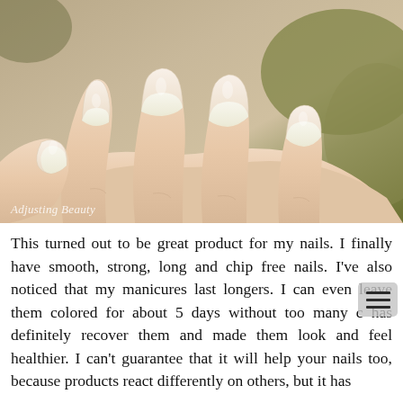[Figure (photo): Close-up photograph of a hand with well-manicured natural nails showing white tips, against a blurred olive/khaki background. Watermark text 'Adjusting Beauty' in italic white font at bottom left.]
This turned out to be great product for my nails. I finally have smooth, strong, long and chip free nails. I've also noticed that my manicures last longers. I can even have them colored for about 5 days without too many c... has definitely recover them and made them look and feel healthier. I can't guarantee that it will help your nails too, because products react differently on others, but it has